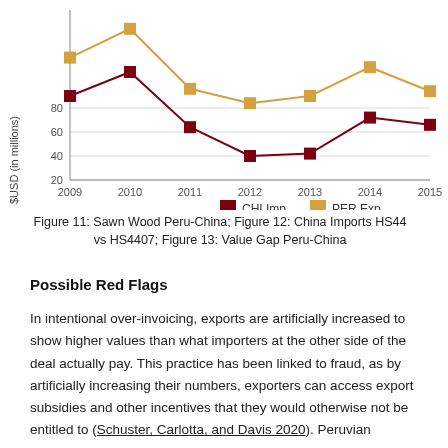[Figure (line-chart): ]
Figure 11: Sawn Wood Peru-China; Figure 12: China Imports HS44 vs HS4407; Figure 13: Value Gap Peru-China
Possible Red Flags
In intentional over-invoicing, exports are artificially increased to show higher values than what importers at the other side of the deal actually pay. This practice has been linked to fraud, as by artificially increasing their numbers, exporters can access export subsidies and other incentives that they would otherwise not be entitled to (Schuster, Carlotta, and Davis 2020). Peruvian legislation